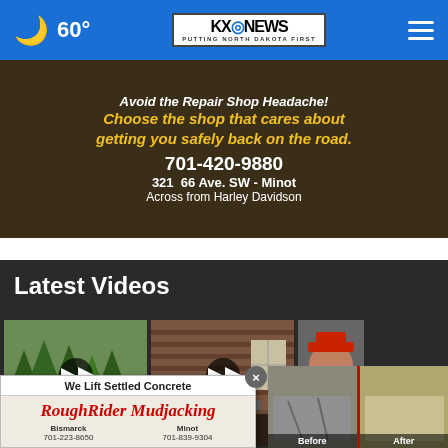🌙 60° | KXO NEWS — PUTTING NORTH DAKOTA FIRST
[Figure (photo): Advertisement for auto repair shop: 'Avoid the Repair Shop Headache! Choose the shop that cares about getting you safely back on the road. 701-420-9880  321 66 Ave. SW - Minot  Across from Harley Davidson']
Latest Videos
[Figure (screenshot): Video thumbnail: Golf - Rugby's Libby Dulm... (golfer on green fairway with trees)]
Golf: Rugby's Libby Dulm...
[Figure (screenshot): Video thumbnail: Volleyball - Minot... (players near building)]
Volleyball: Minot...
[Figure (screenshot): Video thumbnail: Football - Circle... (man in cap and sunglasses)]
Footb... Circl...
[Figure (photo): Pop-up advertisement: 'We Lift Settled Concrete' - RoughRider Mudjacking, Bismarck 701-223-8650, Minot 701-839-9304]
[Figure (photo): Before and After concrete repair photos]